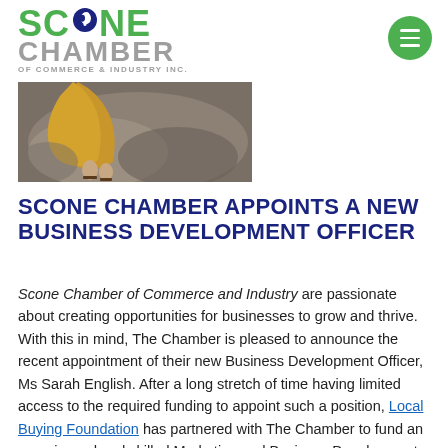[Figure (logo): Scone Chamber of Commerce & Industry Inc. logo with green text and horse head circle in the O]
[Figure (illustration): Button/menu hamburger icon in green circle, top right]
[Figure (photo): Hero image showing a person in yellow/gold clothing sitting on a rock, sandaled feet visible]
SCONE CHAMBER APPOINTS A NEW BUSINESS DEVELOPMENT OFFICER
Scone Chamber of Commerce and Industry are passionate about creating opportunities for businesses to grow and thrive. With this in mind, The Chamber is pleased to announce the recent appointment of their new Business Development Officer, Ms Sarah English. After a long stretch of time having limited access to the required funding to appoint such a position, Local Buying Foundation has partnered with The Chamber to fund an experienced and skilled Marketing and Business Development professional who will be on the ground supporting